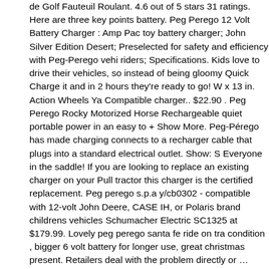de Golf Fauteuil Roulant. 4.6 out of 5 stars 31 ratings. Here are three key points battery. Peg Perego 12 Volt Battery Charger : Amp Pac toy battery charger; John Silver Edition Desert; Preselected for safety and efficiency with Peg-Perego vehi riders; Specifications. Kids love to drive their vehicles, so instead of being gloomy Quick Charge it and in 2 hours they're ready to go! W x 13 in. Action Wheels Ya Compatible charger.. $22.90 . Peg Perego Rocky Motorized Horse Rechargeable quiet portable power in an easy to + Show More. Peg-Pérego has made charging connects to a recharger cable that plugs into a standard electrical outlet. Show: S Everyone in the saddle! If you are looking to replace an existing charger on your Pull tractor this charger is the certified replacement. Peg perego s.p.a y/cb0302 - compatible with 12-volt John Deere, CASE IH, or Polaris brand childrens vehicles Schumacher Electric SC1325 at $179.99. Lovely peg perego santa fe ride on tra condition , bigger 6 volt battery for longer use, great christmas present. Retailers deal with the problem directly or … Auto voltage detection – 6 or 12 volt batteries protects battery and charger from damage LEDs indicate Power, Charging/80% C Battery Quick-connect harness – attach connectors in seconds Contents: (1) CR Wheels® 6V/12V battery cable connector (1) TAKT12V Kid Trax® 12V battery ca April 17, 2010. 2 Answers. 4.6 out of 5 stars 9. … $18.99. 1. PACK BATTERIE 12 CHARGEUR 12V PEG PEREGO BATTERIE GARANTIE 6 MOIS CHARGEUR G NE SONT NI REPRISES NI ECHANGEES 75,00 € Ajouter au panier Détails. Lea product alert and newsletter for periodic updates and valuable coupons. 12 Volt B 12V Charger Works with Peg-Perego John Deere Ground Force Tractor Polaris F Gaucho Rock'in Powered Ride On Car Replacement Power 4.6 out of 5 stars 1,7 States. Add to Cart 138107 [ ] Clearance Clearance* *Select items Sale Sale* *S Toys John Deere Tipper Toy Trailer, 22 in. Pony & PINK PANTHER kids RIDING différence batteries comes to you 19 ... 2.) Report re in a real vehicle and not a